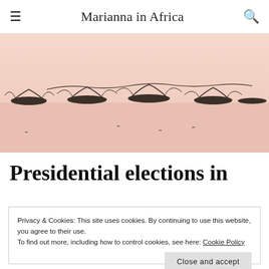Marianna in Africa
[Figure (photo): Sepia-toned photo of several fishing boats on calm water with birds flying in the distance]
Presidential elections in
Privacy & Cookies: This site uses cookies. By continuing to use this website, you agree to their use.
To find out more, including how to control cookies, see here: Cookie Policy
Close and accept